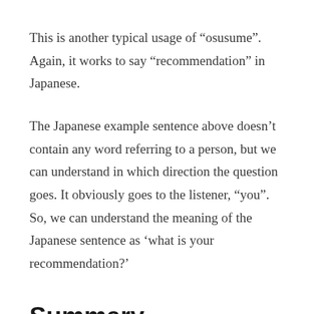This is another typical usage of “osusume”. Again, it works to say “recommendation” in Japanese.
The Japanese example sentence above doesn’t contain any word referring to a person, but we can understand in which direction the question goes. It obviously goes to the listener, “you”. So, we can understand the meaning of the Japanese sentence as ‘what is your recommendation?’
Summary
In this blog post, I’ve explained the definition and